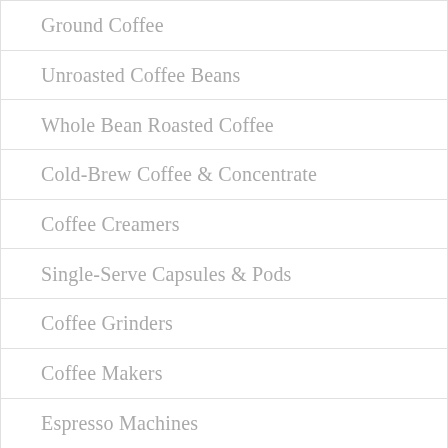Ground Coffee
Unroasted Coffee Beans
Whole Bean Roasted Coffee
Cold-Brew Coffee & Concentrate
Coffee Creamers
Single-Serve Capsules & Pods
Coffee Grinders
Coffee Makers
Espresso Machines